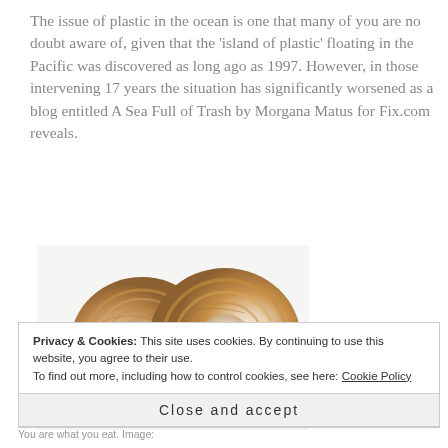The issue of plastic in the ocean is one that many of you are no doubt aware of, given that the 'island of plastic' floating in the Pacific was discovered as long ago as 1997. However, in those intervening 17 years the situation has significantly worsened as a blog entitled A Sea Full of Trash by Morgana Matus for Fix.com reveals.
[Figure (photo): Two round ball-shaped masses made of layered plastic waste and foam, with blue plastic visible inside, photographed against a white background.]
Privacy & Cookies: This site uses cookies. By continuing to use this website, you agree to their use. To find out more, including how to control cookies, see here: Cookie Policy
Close and accept
You are what you eat. Image: